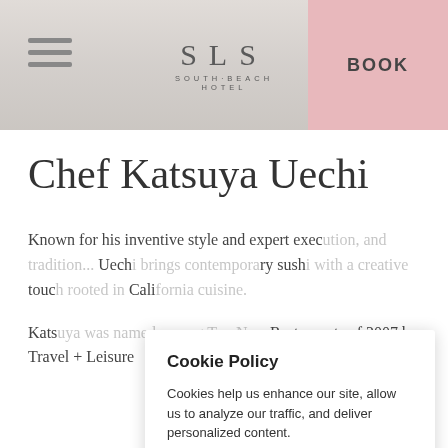SLS SOUTH BEACH HOTEL | BOOK
Chef Katsuya Uechi
Known for his inventive style and expert execution, Uechi ...ary sushi ...touch ...Cali...
[Figure (screenshot): Cookie Policy popup dialog with title 'Cookie Policy', body text 'Cookies help us enhance our site, allow us to analyze our traffic, and deliver personalized content.', and two underlined buttons: 'Review Cookie Settings' and 'Close X']
Katsu... Restaurants of 2007 by Travel + Leisure ...